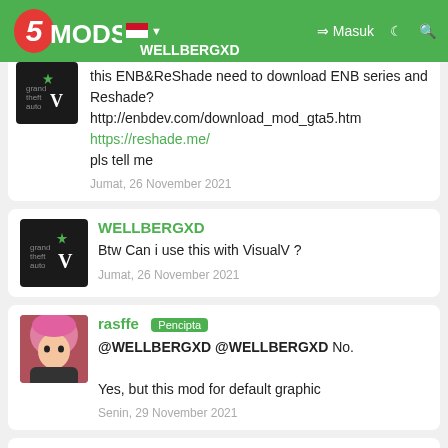5MODS | WELLBERGXD
this ENB&ReShade need to download ENB series and Reshade?
http://enbdev.com/download_mod_gta5.htm
https://reshade.me/
pls tell me
Jumat, 26 November 2021
WELLBERGXD
Btw Can i use this with VisualV ?
Jumat, 26 November 2021
rasffe [Pencipta]
@WELLBERGXD @WELLBERGXD No.

Yes, but this mod for default graphic
Senin, 29 November 2021
TOVOT ★★★★★